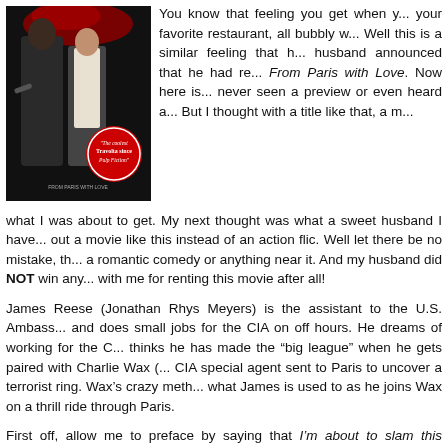[Figure (photo): Movie poster for 'From Paris with Love' showing two men in dark clothing, with a red circle badge reading 'The coolest Travolta since Pulp Fiction']
You know that feeling you get when your favorite restaurant, all bubbly w... Well this is a similar feeling that h... husband announced that he had re... From Paris with Love. Now here is... never seen a preview or even heard a... But I thought with a title like that, a m... what I was about to get. My next thought was what a sweet husband I have... out a movie like this instead of an action flic. Well let there be no mistake, th... a romantic comedy or anything near it. And my husband did NOT win any... with me for renting this movie after all!
James Reese (Jonathan Rhys Meyers) is the assistant to the U.S. Ambass... and does small jobs for the CIA on off hours. He dreams of working for the C... thinks he has made the "big league" when he gets paired with Charlie Wax (... CIA special agent sent to Paris to uncover a terrorist ring. Wax's crazy meth... what James is used to as he joins Wax on a thrill ride through Paris.
First off, allow me to preface by saying that I'm about to slam this movie... enjoyed it, I apologize and I wish you had better taste. ;o) Ok, it did have Jo... and despite his choice to act in this movie, I will always love him! But hones...